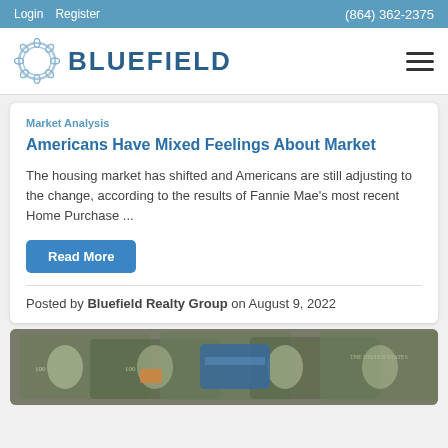Login  Register  (864) 362-2375
[Figure (logo): Bluefield Realty Group logo with circular wreath icon and BLUEFIELD text in dark blue]
Market Analysis
Americans Have Mixed Feelings About Market
The housing market has shifted and Americans are still adjusting to the change, according to the results of Fannie Mae's most recent Home Purchase ...
Read More
Posted by Bluefield Realty Group on August 9, 2022
[Figure (photo): Photo of US dollar bills scattered, showing $100 bills]